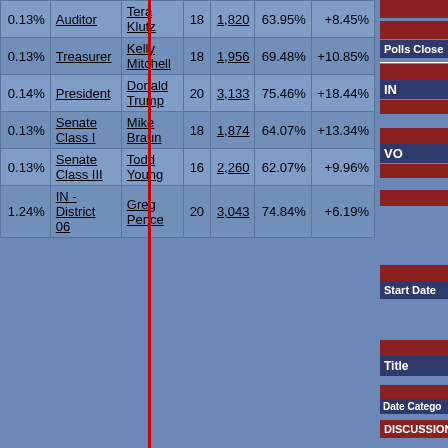| % Margin | Office | Candidate |  | Votes | Win% | Margin |
| --- | --- | --- | --- | --- | --- | --- |
| 0.13% | Auditor | Tera Klutz | 18 | 1,820 | 63.95% | +8.45% |
| 0.13% | Treasurer | Kelly Mitchell | 18 | 1,956 | 69.48% | +10.85% |
| 0.14% | President | Donald Trump | 20 | 3,133 | 75.46% | +18.44% |
| 0.13% | Senate Class I | Mike Braun | 18 | 1,874 | 64.07% | +13.34% |
| 0.13% | Senate Class III | Todd Young | 16 | 2,260 | 62.07% | +9.96% |
| 1.24% | IN - District 06 | Greg Pence | 20 | 3,043 | 74.84% | +6.19% |
Polls Close
IN
VO
Start Date
Title
Date  Catego
DISCUSSION